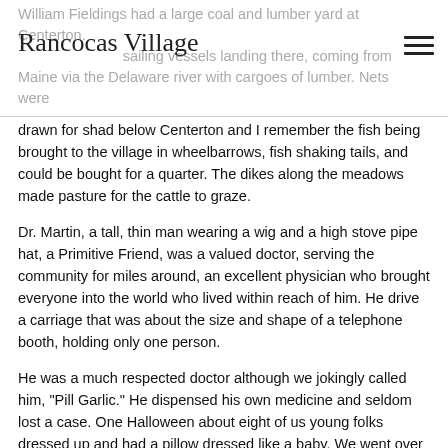William Fieldings had a large coal and lumber yard at Centerton. Rancocas Village sailing vessels landing there, coming from Maine via the Delaware river with cargoes of lumber. Nets were drawn for shad below Centerton and I remember the fish being brought to the village in wheelbarrows, fish shaking tails, and could be bought for a quarter. The dikes along the meadows made pasture for the cattle to graze.
Dr. Martin, a tall, thin man wearing a wig and a high stove pipe hat, a Primitive Friend, was a valued doctor, serving the community for miles around, an excellent physician who brought everyone into the world who lived within reach of him. He drive a carriage that was about the size and shape of a telephone booth, holding only one person.
He was a much respected doctor although we jokingly called him, "Pill Garlic." He dispensed his own medicine and seldom lost a case. One Halloween about eight of us young folks dressed up and had a pillow dressed like a baby. We went over to his office with our sick baby. The doctor thoroughly enjoyed our fun and brought his wife